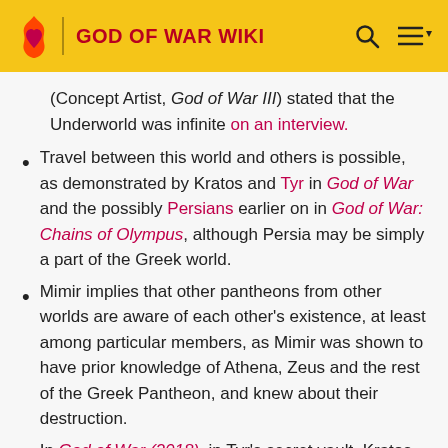GOD OF WAR WIKI
(Concept Artist, God of War III) stated that the Underworld was infinite on an interview.
Travel between this world and others is possible, as demonstrated by Kratos and Tyr in God of War and the possibly Persians earlier on in God of War: Chains of Olympus, although Persia may be simply a part of the Greek world.
Mimir implies that other pantheons from other worlds are aware of each other's existence, at least among particular members, as Mimir was shown to have prior knowledge of Athena, Zeus and the rest of the Greek Pantheon, and knew about their destruction.
In God of War (2018), in Tyr's secret vault, Kratos discovers an amphora depicting him during the